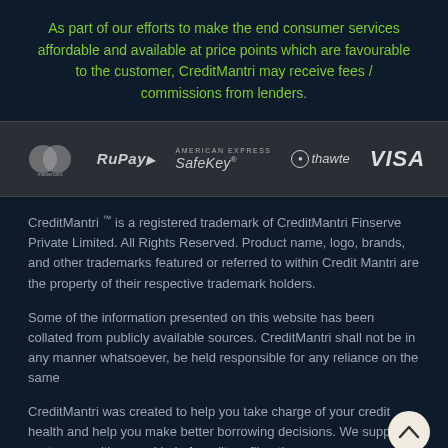As part of our efforts to make the end consumer services affordable and available at price points which are favourable to the customer, CreditMantri may receive fees / commissions from lenders.
[Figure (logo): Payment brand logos: Mastercard, RuPay, American Express SafeKey, thawte, VISA]
CreditMantri ™ is a registered trademark of CreditMantri Finserve Private Limited. All Rights Reserved. Product name, logo, brands, and other trademarks featured or referred to within Credit Mantri are the property of their respective trademark holders.
Some of the information presented on this website has been collated from publicly available sources. CreditMantri shall not be in any manner whatsoever, be held responsible for any reliance on the same
CreditMantri was created to help you take charge of your credit health and help you make better borrowing decisions. We support customers with every kind of credit profile - those